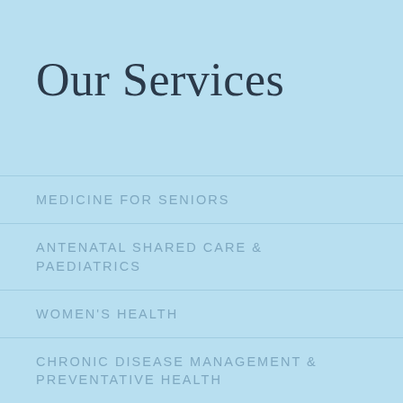Our Services
MEDICINE FOR SENIORS
ANTENATAL SHARED CARE & PAEDIATRICS
WOMEN'S HEALTH
CHRONIC DISEASE MANAGEMENT & PREVENTATIVE HEALTH
TRAVEL HEALTH